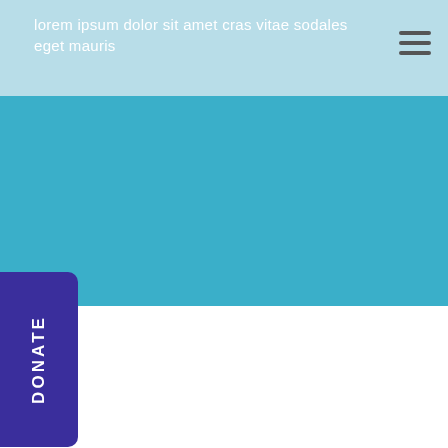lorem ipsum dolor sit amet cras vitae sodales eget mauris
[Figure (other): Blue banner/hero image area below navigation bar]
DONATE